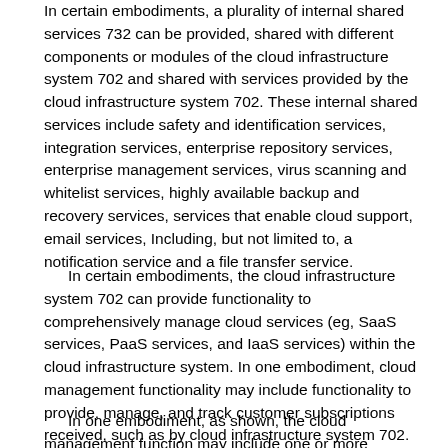In certain embodiments, a plurality of internal shared services 732 can be provided, shared with different components or modules of the cloud infrastructure system 702 and shared with services provided by the cloud infrastructure system 702. These internal shared services include safety and identification services, integration services, enterprise repository services, enterprise management services, virus scanning and whitelist services, highly available backup and recovery services, services that enable cloud support, email services, Including, but not limited to, a notification service and a file transfer service.
In certain embodiments, the cloud infrastructure system 702 can provide functionality to comprehensively manage cloud services (eg, SaaS services, PaaS services, and IaaS services) within the cloud infrastructure system. In one embodiment, cloud management functionality may include functionality to provide, manage, and track customer subscriptions received, such as by cloud infrastructure system 702.
In one embodiment, as shown, the cloud management function may include one or more modules, such as an